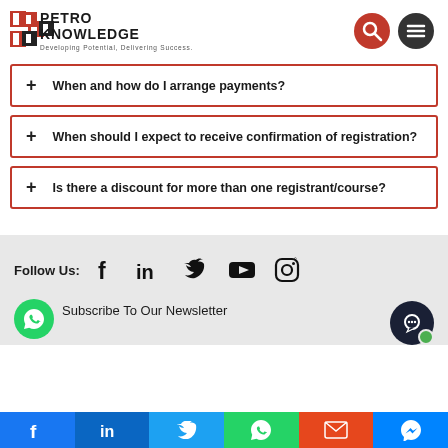[Figure (logo): Petro Knowledge logo with red P icon and tagline 'Developing Potential, Delivering Success.']
+ When and how do I arrange payments?
+ When should I expect to receive confirmation of registration?
+ Is there a discount for more than one registrant/course?
Follow Us:
[Figure (infographic): Social media icons: Facebook, LinkedIn, Twitter, YouTube, Instagram]
Subscribe To Our Newsletter
[Figure (infographic): Share bar with Facebook, LinkedIn, Twitter, WhatsApp, Email, Messenger icons]